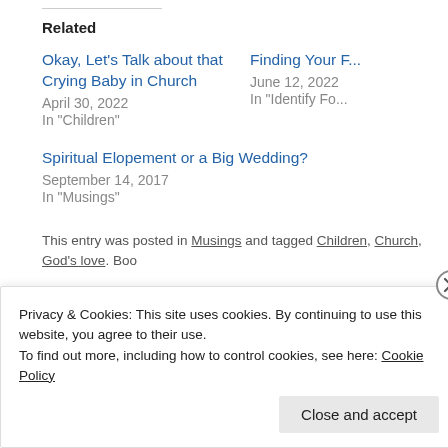Related
Okay, Let's Talk about that Crying Baby in Church
April 30, 2022
In "Children"
Finding Your F...
June 12, 2022
In "Identify Fo...
Spiritual Elopement or a Big Wedding?
September 14, 2017
In "Musings"
This entry was posted in Musings and tagged Children, Church, God's love. Boo
Th
Privacy & Cookies: This site uses cookies. By continuing to use this website, you agree to their use.
To find out more, including how to control cookies, see here: Cookie Policy
Close and accept